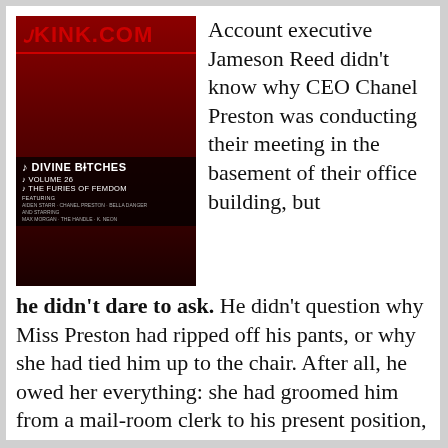[Figure (photo): Cover image of a Kink.com adult DVD titled 'Divine Bitches Volume 26: The Furies of Femdom', featuring the Kink.com logo in red at the top, with performers listed below.]
Account executive Jameson Reed didn't know why CEO Chanel Preston was conducting their meeting in the basement of their office building, but he didn't dare to ask. He didn't question why Miss Preston had ripped off his pants, or why she had tied him up to the chair. After all, he owed her everything: she had groomed him from a mail-room clerk to his present position, and he was